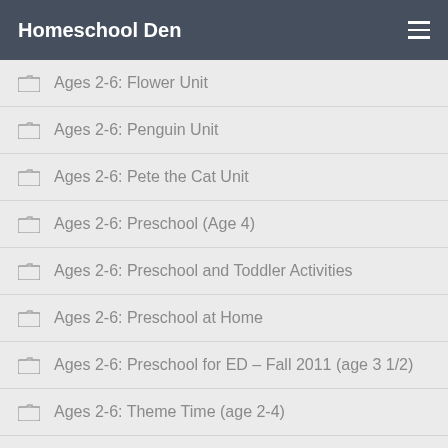Homeschool Den
Ages 2-6: Flower Unit
Ages 2-6: Penguin Unit
Ages 2-6: Pete the Cat Unit
Ages 2-6: Preschool (Age 4)
Ages 2-6: Preschool and Toddler Activities
Ages 2-6: Preschool at Home
Ages 2-6: Preschool for ED – Fall 2011 (age 3 1/2)
Ages 2-6: Theme Time (age 2-4)
Ages 2-6: Toddler/Preschool Activities